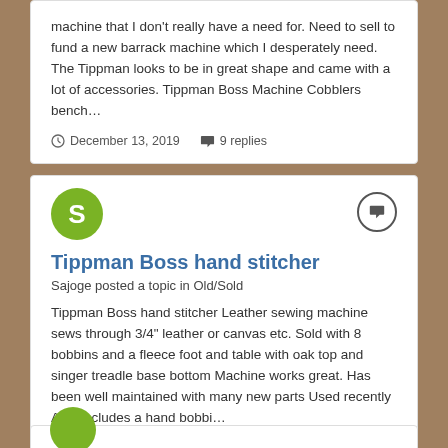machine that I don't really have a need for. Need to sell to fund a new barrack machine which I desperately need. The Tippman looks to be in great shape and came with a lot of accessories. Tippman Boss Machine Cobblers bench…
December 13, 2019   9 replies
Tippman Boss hand stitcher
Sajoge posted a topic in Old/Sold
Tippman Boss hand stitcher Leather sewing machine sews through 3/4" leather or canvas etc. Sold with 8 bobbins and a fleece foot and table with oak top and singer treadle base bottom Machine works great. Has been well maintained with many new parts Used recently Also includes a hand bobbi…
January 9, 2017